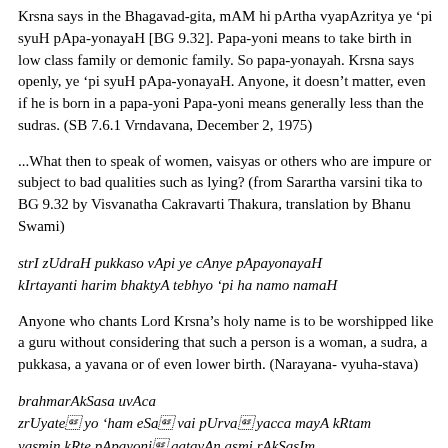Krsna says in the Bhagavad-gita, mAM hi pArtha vyapAzritya ye 'pi syuH pApa-yonayaH [BG 9.32]. Papa-yoni means to take birth in low class family or demonic family. So papa-yonayah. Krsna says openly, ye 'pi syuH pApa-yonayaH. Anyone, it doesn't matter, even if he is born in a papa-yoni Papa-yoni means generally less than the sudras. (SB 7.6.1 Vrndavana, December 2, 1975)
...What then to speak of women, vaisyas or others who are impure or subject to bad qualities such as lying? (from Sarartha varsini tika to BG 9.32 by Visvanatha Cakravarti Thakura, translation by Bhanu Swami)
strI zUdraH pukkaso vApi ye cAnye pApayonayaH
kIrtayanti harim bhaktyA tebhyo 'pi ha namo namaH
Anyone who chants Lord Krsna's holy name is to be worshipped like a guru without considering that such a person is a woman, a sudra, a pukkasa, a yavana or of even lower birth. (Narayana-vyuha-stava)
brahmarAkSasa uvAca
zrUyate yo 'ham eSa vai pUrva yacca mayA kRtam
yasmin kRte pApayoni gatavAn asmi rAkSasIm